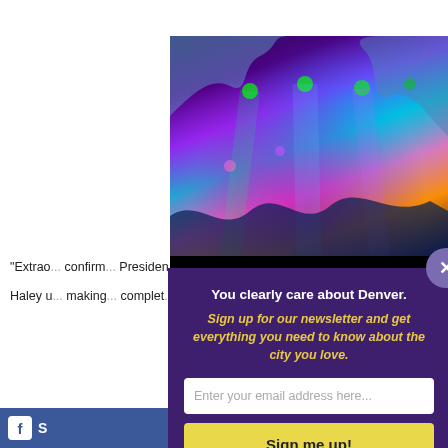[Figure (photo): Concert/event ad banner for Denver showing colorful illuminated ice cave stage with purple, pink, teal and orange lighting. Text 'DENVER' at top and 'TICKETS AVAILABLE' at bottom, black background.]
“Extrao... confirm... Presiden...
Haley u... making... complet...
[Figure (other): Facebook share bar at bottom left]
You clearly care about Denver.
Sign up for our newsletter and get everything you need to know about the city you love.
Enter your email address here...
Sign me up!